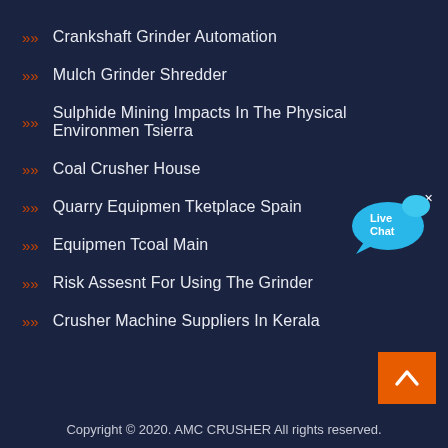Crankshaft Grinder Automation
Mulch Grinder Shredder
Sulphide Mining Impacts In The Physical Environmen Tsierra
Coal Crusher House
Quarry Equipmen Tketplace Spain
Equipmen Tcoal Main
Risk Assesnt For Using The Grinder
Crusher Machine Suppliers In Kerala
[Figure (illustration): Live Chat bubble icon in cyan/blue]
[Figure (illustration): Back to top orange button with white chevron arrow]
Copyright © 2020. AMC CRUSHER All rights reserved.